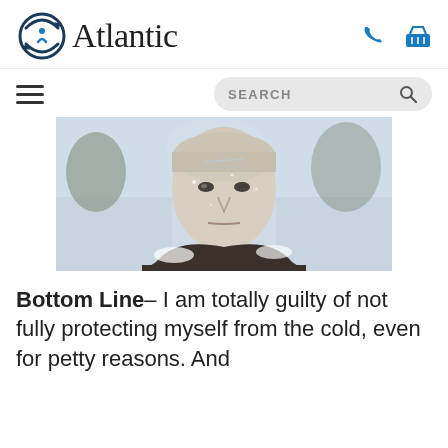Atlantic (logo with navigation icons)
[Figure (photo): A man covered in frost and snow, staring intensely at the camera — scene from a horror/thriller film in a winter setting.]
Bottom Line– I am totally guilty of not fully protecting myself from the cold, even for petty reasons. And